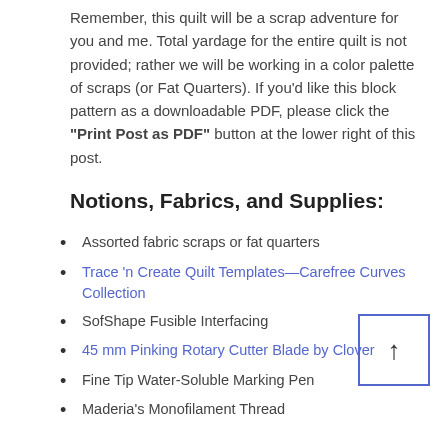Remember, this quilt will be a scrap adventure for you and me. Total yardage for the entire quilt is not provided; rather we will be working in a color palette of scraps (or Fat Quarters). If you'd like this block pattern as a downloadable PDF, please click the "Print Post as PDF" button at the lower right of this post.
Notions, Fabrics, and Supplies:
Assorted fabric scraps or fat quarters
Trace 'n Create Quilt Templates—Carefree Curves Collection
SofShape Fusible Interfacing
45 mm Pinking Rotary Cutter Blade by Clover
Fine Tip Water-Soluble Marking Pen
Maderia's Monofilament Thread